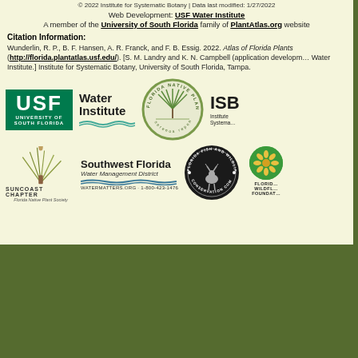© 2022 Institute for Systematic Botany | Data last modified: 1/27/2022
Web Development: USF Water Institute
A member of the University of South Florida family of PlantAtlas.org websites
Citation Information:
Wunderlin, R. P., B. F. Hansen, A. R. Franck, and F. B. Essig. 2022. Atlas of Florida Plants (http://florida.plantatlas.usf.edu/). [S. M. Landry and K. N. Campbell (application development), USF Water Institute.] Institute for Systematic Botany, University of South Florida, Tampa.
[Figure (logo): USF University of South Florida logo - green background with white USF text]
[Figure (logo): Water Institute logo with wave graphic]
[Figure (logo): Florida Native Plant Society circular logo with serenoa repens palm]
[Figure (logo): ISB Institute for Systematic Botany logo]
[Figure (logo): Suncoast Chapter Florida Native Plant Society logo with plant illustration]
[Figure (logo): Southwest Florida Water Management District logo]
[Figure (logo): Florida Fish and Wildlife Conservation Commission circular logo]
[Figure (logo): Florida Wildflower Foundation logo - green circle with yellow flower]